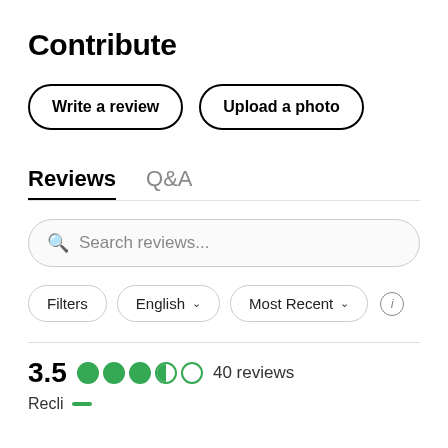Contribute
Write a review
Upload a photo
Reviews
Q&A
Search reviews...
Filters
English
Most Recent
3.5  40 reviews
Recli